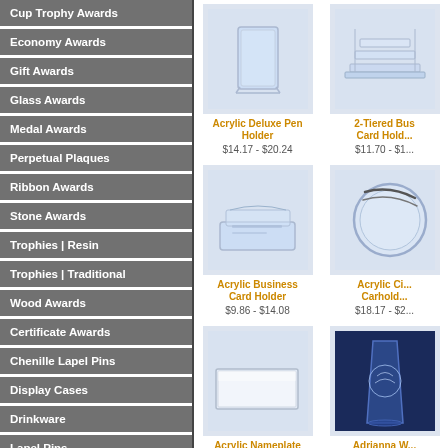Cup Trophy Awards
Economy Awards
Gift Awards
Glass Awards
Medal Awards
Perpetual Plaques
Ribbon Awards
Stone Awards
Trophies | Resin
Trophies | Traditional
Wood Awards
Certificate Awards
Chenille Lapel Pins
Display Cases
Drinkware
Lapel Pins
Name Badges | Plates
[Figure (photo): Acrylic Deluxe Pen Holder product photo]
Acrylic Deluxe Pen Holder
$14.17 - $20.24
[Figure (photo): 2-Tiered Business Card Holder product photo]
2-Tiered Business Card Holder
$11.70 - $1...
[Figure (photo): Acrylic Business Card Holder product photo]
Acrylic Business Card Holder
$9.86 - $14.08
[Figure (photo): Acrylic Circle Cardholder product photo]
Acrylic Circle Cardholder
$18.17 - $2...
[Figure (photo): Acrylic Nameplate product photo]
Acrylic Nameplate
$19.71 - $29.48
[Figure (photo): Adrianna W... product photo]
Adrianna W...
$63.00 - $8...